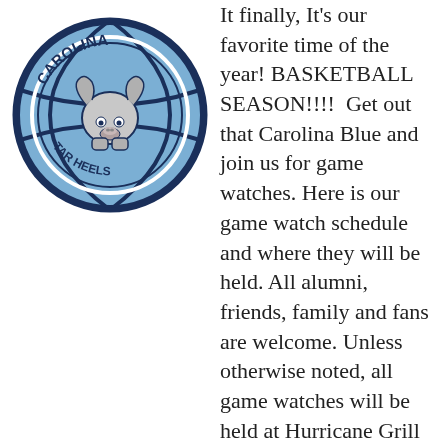[Figure (logo): Carolina Tar Heels basketball logo — a light blue basketball with the UNC ram mascot in the center, surrounded by a circular border with 'CAROLINA' on top and 'TAR HEELS' on the bottom in dark navy text]
It finally, It's our favorite time of the year! BASKETBALL SEASON!!!! Get out that Carolina Blue and join us for game watches. Here is our game watch schedule and where they will be held. All alumni, friends, family and fans are welcome. Unless otherwise noted, all game watches will be held at Hurricane Grill & Wings 1615 Hendricks Avenue.